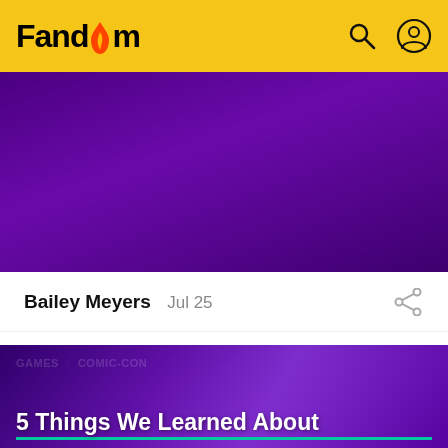Fandom
[Figure (photo): Purple-tinted hero image for first article, dark background]
Bailey Meyers   Jul 25
[Figure (photo): Nightwing and Batgirl characters on purple background, with tags GAMES · COMIC-CON and title '5 Things We Learned About']